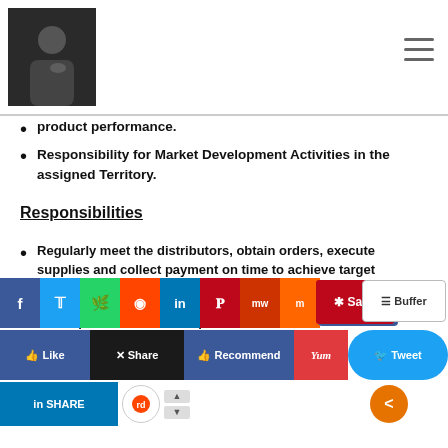[Navigation header with logo photo and hamburger menu]
product performance.
Responsibility for Market Development Activities in the assigned Territory.
Responsibilities
Regularly meet the distributors, obtain orders, execute supplies and collect payment on time to achieve target
Monitoring C&F points wherever applicable
[development activities as per] [the product performance]
[liaison with /monitor meetings on weekly basis]
[ulties also, with relevant]
[training support ma...rials]
[Figure (screenshot): Social media sharing toolbar with buttons: Facebook, Twitter, WhatsApp, Reddit, LinkedIn, Pinterest, MW, Mix, Save (Pinterest), Buffer, Like, Share (XING), Recommend (Facebook), Yum, Tweet, LinkedIn Share, Reddit icon, up/down arrows, share icon]